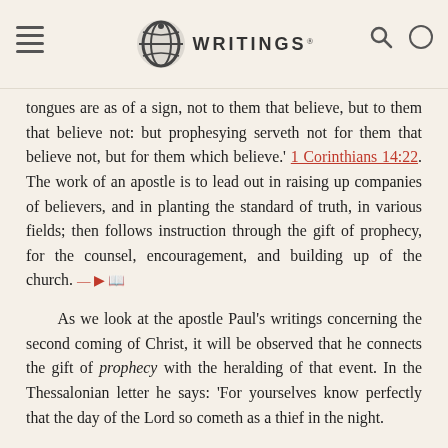EGW WRITINGS
tongues are as of a sign, not to them that believe, but to them that believe not: but prophesying serveth not for them that believe not, but for them which believe.' 1 Corinthians 14:22. The work of an apostle is to lead out in raising up companies of believers, and in planting the standard of truth, in various fields; then follows instruction through the gift of prophecy, for the counsel, encouragement, and building up of the church.
As we look at the apostle Paul's writings concerning the second coming of Christ, it will be observed that he connects the gift of prophecy with the heralding of that event. In the Thessalonian letter he says: 'For yourselves know perfectly that the day of the Lord so cometh as a thief in the night.'